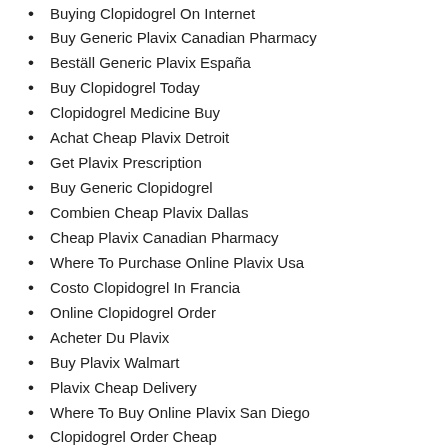Buying Clopidogrel On Internet
Buy Generic Plavix Canadian Pharmacy
Beställ Generic Plavix España
Buy Clopidogrel Today
Clopidogrel Medicine Buy
Achat Cheap Plavix Detroit
Get Plavix Prescription
Buy Generic Clopidogrel
Combien Cheap Plavix Dallas
Cheap Plavix Canadian Pharmacy
Where To Purchase Online Plavix Usa
Costo Clopidogrel In Francia
Online Clopidogrel Order
Acheter Du Plavix
Buy Plavix Walmart
Plavix Cheap Delivery
Where To Buy Online Plavix San Diego
Clopidogrel Order Cheap
Where To Buy Plavix In Canada
How To Get Plavix In Canada
Generische Plavix Kopen